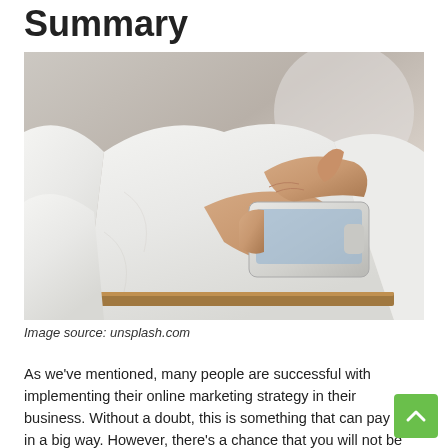Summary
[Figure (photo): Person in white dress shirt using a smartphone, tapping the screen with fingers, close-up of hands and phone]
Image source: unsplash.com
As we've mentioned, many people are successful with implementing their online marketing strategy in their business. Without a doubt, this is something that can pay off in a big way. However, there's a chance that you will not be able to reach the best possible performance. So, when you have a strategy you hope will provide you with exceptional results, be sure to look for all the signs that can